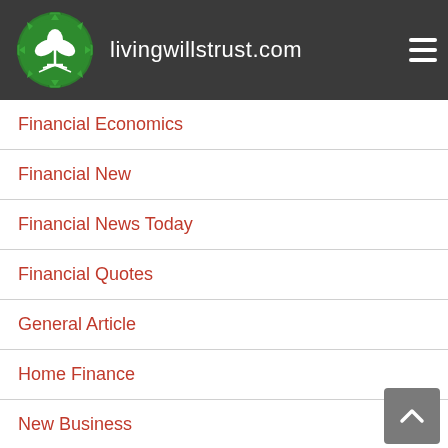livingwillstrust.com
Financial Economics
Financial New
Financial News Today
Financial Quotes
General Article
Home Finance
New Business
New Business
News Financial
THE BUSINESS
What Is A Business